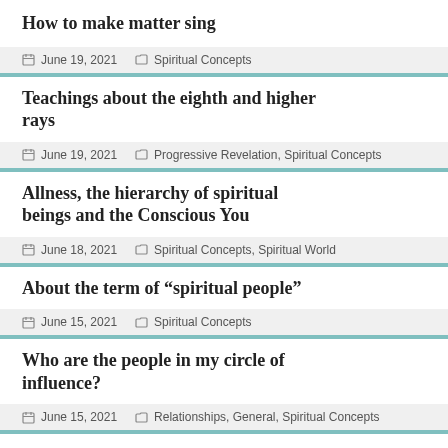How to make matter sing
June 19, 2021   Spiritual Concepts
Teachings about the eighth and higher rays
June 19, 2021   Progressive Revelation, Spiritual Concepts
Allness, the hierarchy of spiritual beings and the Conscious You
June 18, 2021   Spiritual Concepts, Spiritual World
About the term of “spiritual people”
June 15, 2021   Spiritual Concepts
Who are the people in my circle of influence?
June 15, 2021   Relationships, General, Spiritual Concepts
Creation of the human body